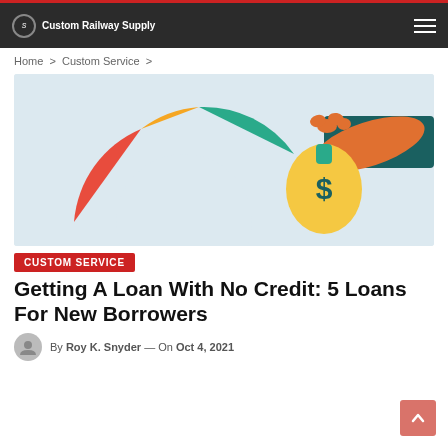Custom Railway Supply
Home > Custom Service >
[Figure (illustration): Illustration of a credit score gauge (semicircle with red, orange and teal segments) and a hand holding a money bag with a dollar sign, against a light blue background.]
CUSTOM SERVICE
Getting A Loan With No Credit: 5 Loans For New Borrowers
By Roy K. Snyder — On Oct 4, 2021